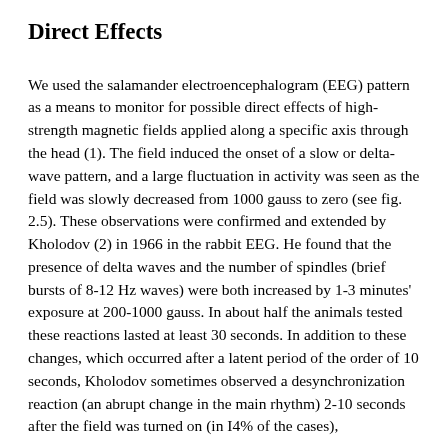Direct Effects
We used the salamander electroencephalogram (EEG) pattern as a means to monitor for possible direct effects of high-strength magnetic fields applied along a specific axis through the head (1). The field induced the onset of a slow or delta-wave pattern, and a large fluctuation in activity was seen as the field was slowly decreased from 1000 gauss to zero (see fig. 2.5). These observations were confirmed and extended by Kholodov (2) in 1966 in the rabbit EEG. He found that the presence of delta waves and the number of spindles (brief bursts of 8-12 Hz waves) were both increased by 1-3 minutes' exposure at 200-1000 gauss. In about half the animals tested these reactions lasted at least 30 seconds. In addition to these changes, which occurred after a latent period of the order of 10 seconds, Kholodov sometimes observed a desynchronization reaction (an abrupt change in the main rhythm) 2-10 seconds after the field was turned on (in I4% of the cases), off (24%). He attributed their occurrence in all cases to